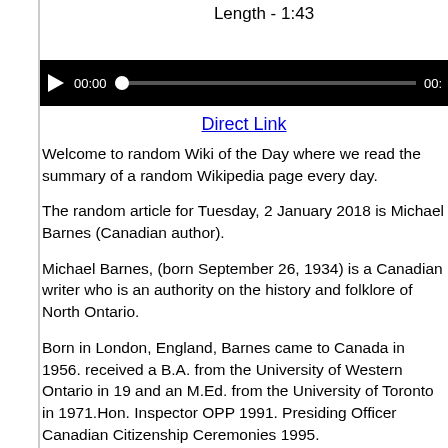Length - 1:43
[Figure (other): Audio player bar with play button, timestamp 00:00, progress bar with dot, and end time 00:]
Direct Link
Welcome to random Wiki of the Day where we read the summary of a random Wikipedia page every day.
The random article for Tuesday, 2 January 2018 is Michael Barnes (Canadian author).
Michael Barnes, (born September 26, 1934) is a Canadian writer who is an authority on the history and folklore of North Ontario.
Born in London, England, Barnes came to Canada in 1956. received a B.A. from the University of Western Ontario in 19 and an M.Ed. from the University of Toronto in 1971.Hon. Inspector OPP 1991. Presiding Officer Canadian Citizenship Ceremonies 1995.
In 1994 he was made a Member of the Order of Canada.
This recording reflects the Wikipedia text as of 01:02 UTC o